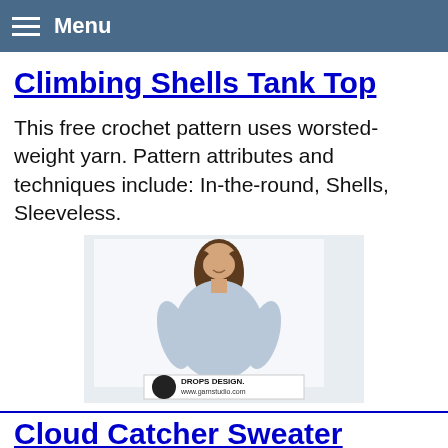Menu
Climbing Shells Tank Top
This free crochet pattern uses worsted-weight yarn. Pattern attributes and techniques include: In-the-round, Shells, Sleeveless.
[Figure (photo): Woman wearing a light blue crochet sweater, smiling, with DROPS DESIGN / www.garnstudio.com watermark at bottom.]
Cloud Catcher Sweater